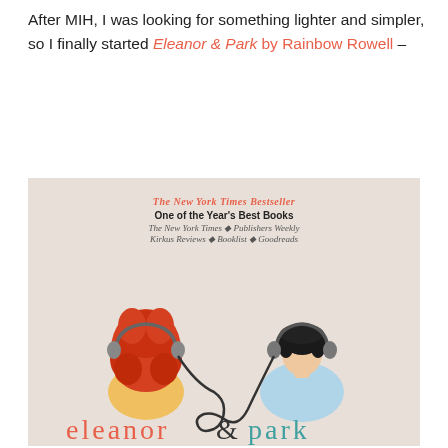After MIH, I was looking for something lighter and simpler, so I finally started Eleanor & Park by Rainbow Rowell –
[Figure (photo): Book cover of Eleanor & Park by Rainbow Rowell. Beige/tan background. Top text reads 'The New York Times Bestseller' in coral italic, 'One of the Year's Best Books' in bold, 'The New York Times • Publishers Weekly', 'Kirkus Reviews • Booklist • Goodreads'. Two illustrated figures seen from behind: a girl with voluminous red curly hair wearing headphones and yellow top on the left, a boy with dark hair wearing headphones and light blue hoodie on the right. A shared headphone cord connects them and forms an ampersand shape. Title 'eleanor & park' in large letters at the bottom in coral and teal. A third figure partially visible at the very bottom.]